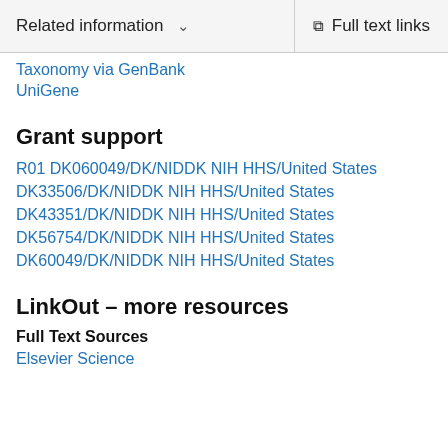Related information  ∨   Full text links
Taxonomy via GenBank
UniGene
Grant support
R01 DK060049/DK/NIDDK NIH HHS/United States
DK33506/DK/NIDDK NIH HHS/United States
DK43351/DK/NIDDK NIH HHS/United States
DK56754/DK/NIDDK NIH HHS/United States
DK60049/DK/NIDDK NIH HHS/United States
LinkOut – more resources
Full Text Sources
Elsevier Science